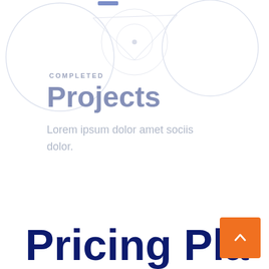[Figure (illustration): Faint light-colored geometric/circular decorative shapes in the upper portion of the page, with a small blue rectangle accent near top center]
COMPLETED
Projects
Lorem ipsum dolor amet sociis dolor.
Pricing Pla
[Figure (other): Orange square button with white upward chevron arrow, bottom-right corner, scroll-to-top UI element]